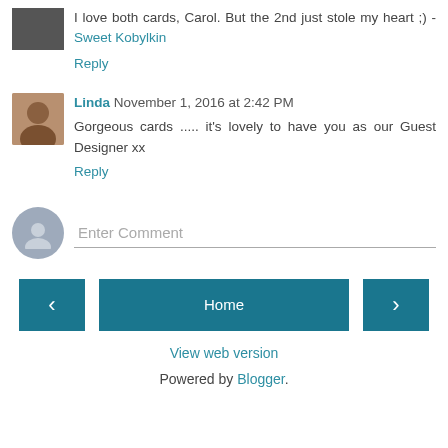I love both cards, Carol. But the 2nd just stole my heart ;) - Sweet Kobylkin
Reply
Linda November 1, 2016 at 2:42 PM
Gorgeous cards ..... it's lovely to have you as our Guest Designer xx
Reply
Enter Comment
[Figure (other): Navigation buttons: left arrow, Home, right arrow]
View web version
Powered by Blogger.